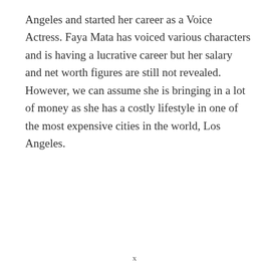Angeles and started her career as a Voice Actress. Faya Mata has voiced various characters and is having a lucrative career but her salary and net worth figures are still not revealed. However, we can assume she is bringing in a lot of money as she has a costly lifestyle in one of the most expensive cities in the world, Los Angeles.
x